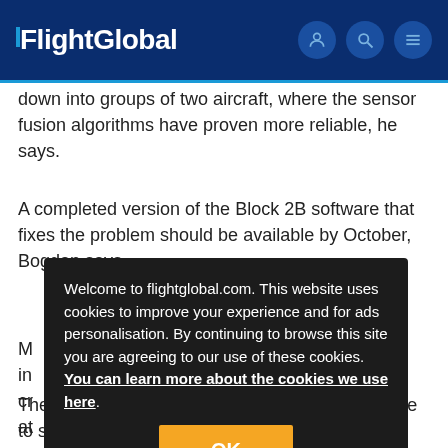FlightGlobal
down into groups of two aircraft, where the sensor fusion algorithms have proven more reliable, he says.
A completed version of the Block 2B software that fixes the problem should be available by October, Bogdan says.
Welcome to flightglobal.com. This website uses cookies to improve your experience and for ads personalisation. By continuing to browse this site you are agreeing to our use of these cookies. You can learn more about the cookies we use here.
The lighter bulkhead has since proved susceptible to structural cracking, requiring a series of “patches” all over the